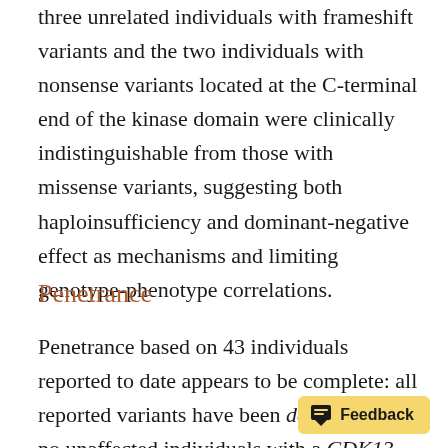three unrelated individuals with frameshift variants and the two individuals with nonsense variants located at the C-terminal end of the kinase domain were clinically indistinguishable from those with missense variants, suggesting both haploinsufficiency and dominant-negative effect as mechanisms and limiting genotype-phenotype correlations.
Penetrance
Penetrance based on 43 individuals reported to date appears to be complete: all reported variants have been de novo and no unaffected individuals with a CDK13 pathogenic variant have been reported.